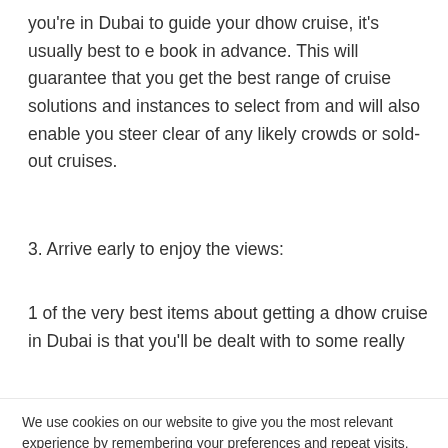you're in Dubai to guide your dhow cruise, it's usually best to e book in advance. This will guarantee that you get the best range of cruise solutions and instances to select from and will also enable you steer clear of any likely crowds or sold-out cruises.
3. Arrive early to enjoy the views:
1 of the very best items about getting a dhow cruise in Dubai is that you'll be dealt with to some really
We use cookies on our website to give you the most relevant experience by remembering your preferences and repeat visits. By clicking "Accept All", you consent to the use of ALL the cookies. However, you may visit "Cookie Settings" to provide a controlled consent.